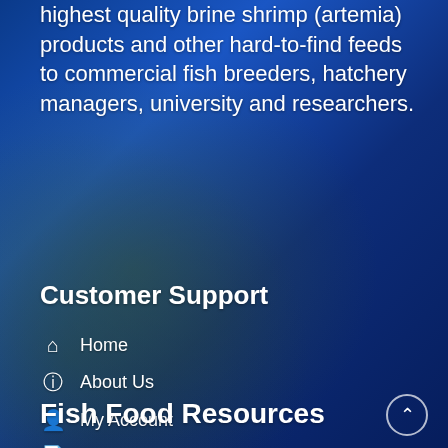highest quality brine shrimp (artemia) products and other hard-to-find feeds to commercial fish breeders, hatchery managers, university and researchers.
Customer Support
Home
About Us
My Account
Policies
Shipping Policies
Contact
Fish Food Resources